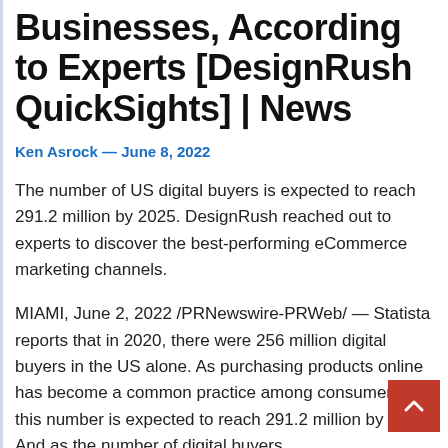Businesses, According to Experts [DesignRush QuickSights] | News
Ken Asrock — June 8, 2022
The number of US digital buyers is expected to reach 291.2 million by 2025. DesignRush reached out to experts to discover the best-performing eCommerce marketing channels.
MIAMI, June 2, 2022 /PRNewswire-PRWeb/ — Statista reports that in 2020, there were 256 million digital buyers in the US alone. As purchasing products online has become a common practice among consumers, this number is expected to reach 291.2 million by 2025. And as the number of digital buyers